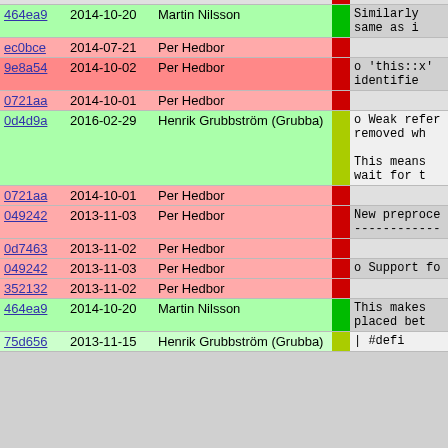| Hash | Date | Author |  | Content |
| --- | --- | --- | --- | --- |
| 464ea9 | 2014-10-20 | Martin Nilsson |  | Similarly same as i |
| ec0bce | 2014-07-21 | Per Hedbor |  |  |
| 9e8a54 | 2014-10-02 | Per Hedbor |  | o 'this::x' identifie |
| 0721aa | 2014-10-01 | Per Hedbor |  |  |
| 0d4d9a | 2016-02-29 | Henrik Grubbström (Grubba) |  | o Weak refere removed wh  This means wait for t |
| 0721aa | 2014-10-01 | Per Hedbor |  |  |
| 049242 | 2013-11-03 | Per Hedbor |  | New preproce ------------ |
| 0d7463 | 2013-11-02 | Per Hedbor |  |  |
| 049242 | 2013-11-03 | Per Hedbor |  | o Support fo |
| 352132 | 2013-11-02 | Per Hedbor |  |  |
| 464ea9 | 2014-10-20 | Martin Nilsson |  | This makes placed bet |
| 75d656 | 2013-11-15 | Henrik Grubbström (Grubba) |  | | #defi |